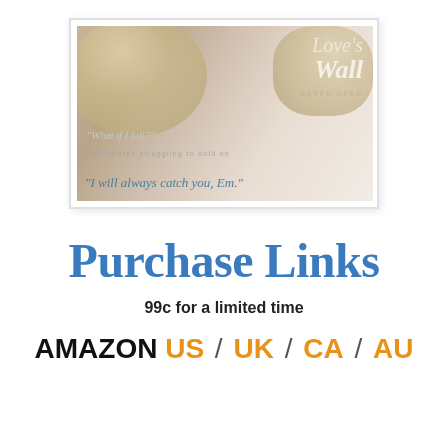[Figure (illustration): Book cover image for 'Love's Wall' by Karen Heen showing two people in a romantic close-up with script quotes overlay: 'What if I fall?' / 'I whispered struggling to hold on' / 'I will always catch you, Em.' The cover has soft warm tones with blonde hair prominent.]
Purchase Links
99c for a limited time
AMAZON US / UK / CA / AU